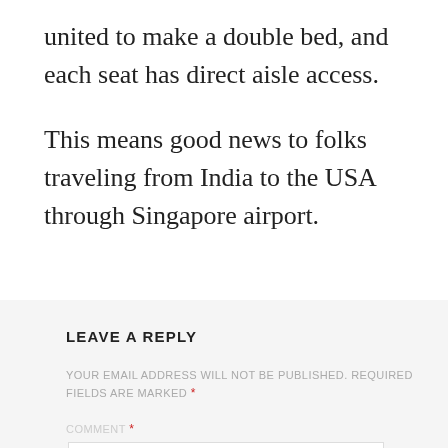united to make a double bed, and each seat has direct aisle access.
This means good news to folks traveling from India to the USA through Singapore airport.
LEAVE A REPLY
YOUR EMAIL ADDRESS WILL NOT BE PUBLISHED. REQUIRED FIELDS ARE MARKED *
COMMENT *